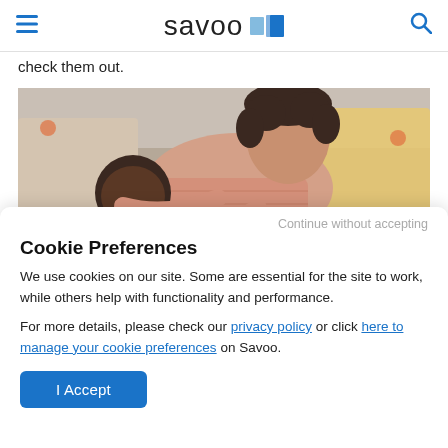savoo [logo]
check them out.
[Figure (photo): Woman hugging a child on a couch with colorful pillows]
Continue without accepting
Cookie Preferences
We use cookies on our site. Some are essential for the site to work, while others help with functionality and performance.
For more details, please check our privacy policy or click here to manage your cookie preferences on Savoo.
I Accept